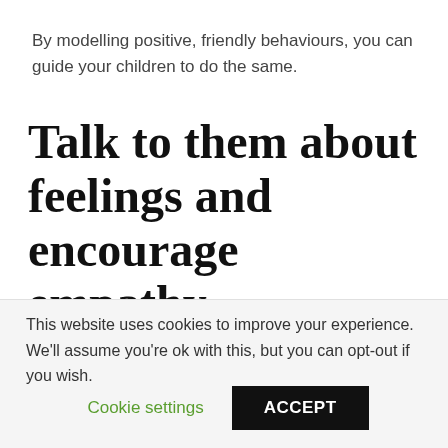By modelling positive, friendly behaviours, you can guide your children to do the same.
Talk to them about feelings and encourage empathy
Parents can help children develop social skills during a short activity break by focusing on feelings and
This website uses cookies to improve your experience. We'll assume you're ok with this, but you can opt-out if you wish.
Cookie settings  ACCEPT